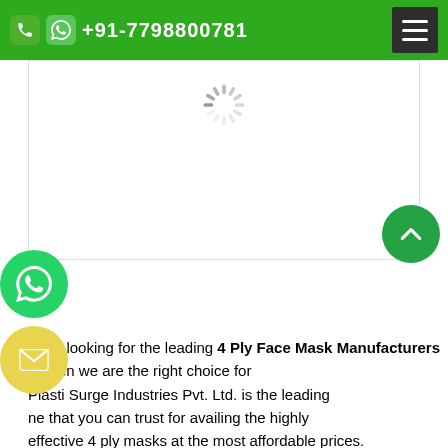+91-7798800781
[Figure (screenshot): Loading spinner / image placeholder area with a spinning loading indicator]
Enquire Now
If you are looking for the leading 4 Ply Face Mask Manufacturers in then we are the right choice for you. Plasti Surge Industries Pvt. Ltd. is the leading name that you can trust for availing the highly effective 4 ply masks at the most affordable prices. Our offered masks are manufactured by the